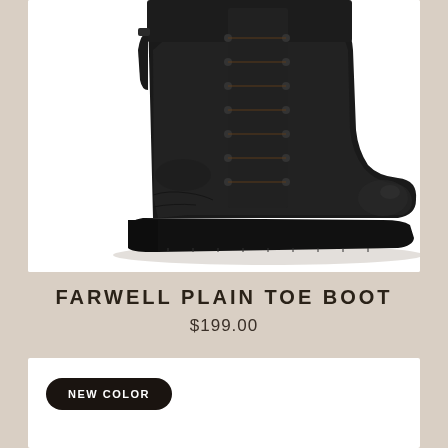[Figure (photo): Black leather lace-up boot (Farwell Plain Toe Boot) shown in profile view on white background. The boot has dark brown laces, a chunky black rubber sole, and a pull tab at the back.]
FARWELL PLAIN TOE BOOT
$199.00
[Figure (photo): White product image panel with a black oval badge reading 'NEW COLOR' in white uppercase letters.]